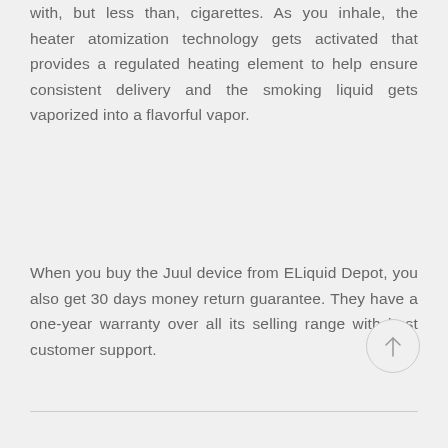with, but less than, cigarettes. As you inhale, the heater atomization technology gets activated that provides a regulated heating element to help ensure consistent delivery and the smoking liquid gets vaporized into a flavorful vapor.
When you buy the Juul device from ELiquid Depot, you also get 30 days money return guarantee. They have a one-year warranty over all its selling range with best customer support.